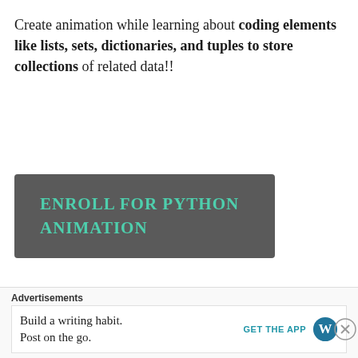Create animation while learning about coding elements like lists, sets, dictionaries, and tuples to store collections of related data!!
[Figure (other): Dark grey button with teal text reading ENROLL FOR PYTHON ANIMATION]
[Figure (other): Green/teal horizontal bar]
Advertisements — Build a writing habit. Post on the go. — GET THE APP [WordPress logo]